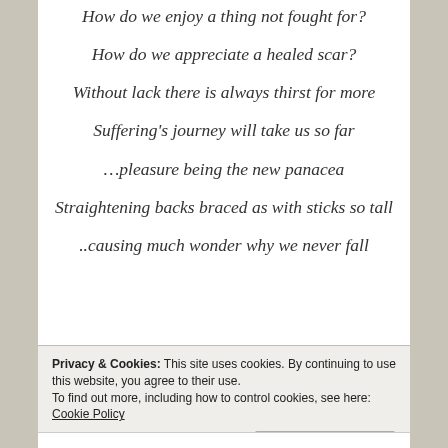How do we enjoy a thing not fought for?
How do we appreciate a healed scar?
Without lack there is always thirst for more
Suffering's journey will take us so far
…pleasure being the new panacea
Straightening backs braced as with sticks so tall
..causing much wonder why we never fall
Privacy & Cookies: This site uses cookies. By continuing to use this website, you agree to their use. To find out more, including how to control cookies, see here: Cookie Policy
Close and accept